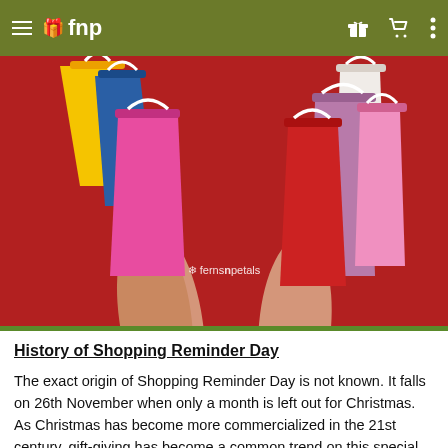fnp — navigation bar with hamburger menu, gift icon, cart icon, more icon
[Figure (photo): Two hands raised holding colorful shopping bags (yellow, blue, pink, red, mauve, white) against a red background, with Ferns N Petals watermark logo at bottom center.]
History of Shopping Reminder Day
The exact origin of Shopping Reminder Day is not known. It falls on 26th November when only a month is left out for Christmas. As Christmas has become more commercialized in the 21st century, gift-giving has become a common trend on this special occasion across the world. People often procrastinate their holiday